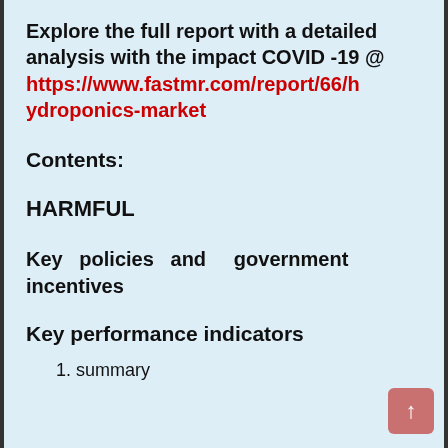Explore the full report with a detailed analysis with the impact COVID -19 @ https://www.fastmr.com/report/66/hydroponics-market
Contents:
HARMFUL
Key policies and government incentives
Key performance indicators
1. summary